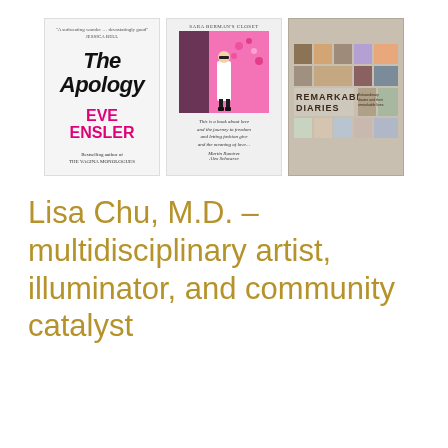[Figure (photo): Three book covers side by side: 'The Apology' by Eve Ensler (white cover with handwritten-style title and pink author name), Sara Berman's closet (figure in white coat against pink floral background), and 'Remarkable Diaries' (beige cover with grid of diary images)]
Lisa Chu, M.D. – multidisciplinary artist, illuminator, and community catalyst